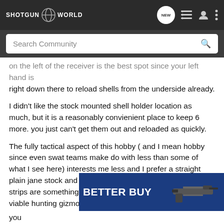SHOTGUN WORLD
Search Community
on the left of the receiver is the best spot since your left hand is right down there to reload shells from the underside already.
I didn't like the stock mounted shell holder location as much, but it is a reasonably convienient place to keep 6 more. you just can't get them out and reloaded as quickly.
The fully tactical aspect of this hobby ( and I mean hobby since even swat teams make do with less than some of what I see here) interests me less and I prefer a straight plain jane stock and such, but the velcro 6-pack reciever strips are something I might look into. this could even be a viable hunting gizmo, but usually one already has some kind of vest or pouch belt for ammo.
[Figure (screenshot): Advertisement banner with text BETTER BUY and image of a tactical rifle/gun on a blue background]
you can ght on